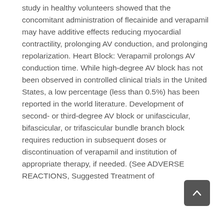study in healthy volunteers showed that the concomitant administration of flecainide and verapamil may have additive effects reducing myocardial contractility, prolonging AV conduction, and prolonging repolarization. Heart Block: Verapamil prolongs AV conduction time. While high-degree AV block has not been observed in controlled clinical trials in the United States, a low percentage (less than 0.5%) has been reported in the world literature. Development of second- or third-degree AV block or unifascicular, bifascicular, or trifascicular bundle branch block requires reduction in subsequent doses or discontinuation of verapamil and institution of appropriate therapy, if needed. (See ADVERSE REACTIONS, Suggested Treatment of